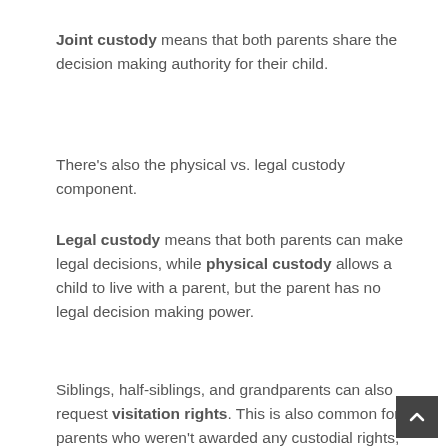Joint custody means that both parents share the decision making authority for their child.
There's also the physical vs. legal custody component.
Legal custody means that both parents can make legal decisions, while physical custody allows a child to live with a parent, but the parent has no legal decision making power.
Siblings, half-siblings, and grandparents can also request visitation rights. This is also common for parents who weren't awarded any custodial rights, but want to spend time